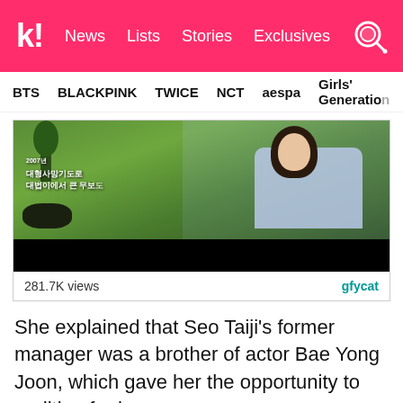k! News Lists Stories Exclusives
BTS BLACKPINK TWICE NCT aespa Girls' Generation
[Figure (screenshot): Video still of a woman in a light blue shirt sitting outdoors in an interview setting with green foliage background. Korean text overlay reads '2007년' and additional Korean characters. Bottom portion is black.]
281.7K views
She explained that Seo Taiji's former manager was a brother of actor Bae Yong Joon, which gave her the opportunity to audition for her